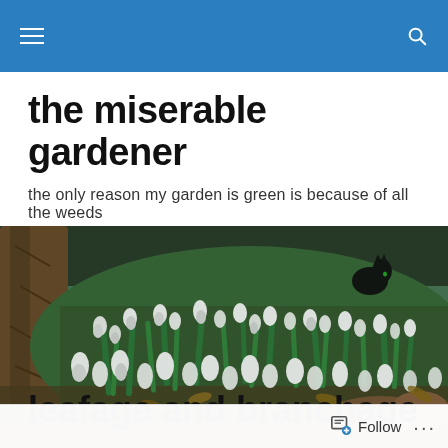navigation bar with hamburger menu and search icon
the miserable gardener
the only reason my garden is green is because of all the weeds
[Figure (photo): A garden scene with white snowdrop flowers blooming in mass near a tree trunk, with green foliage and leaf litter on the ground, and a black cat visible in the background.]
leafage and branchage
Follow ...